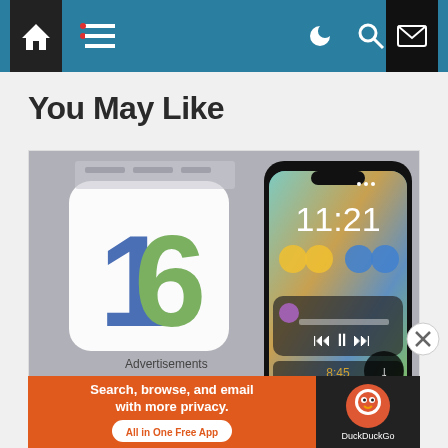Navigation bar with home, menu, moon/dark mode, search, mail icons
You May Like
[Figure (screenshot): Screenshot showing iOS 16 logo on left and an iPhone with lock screen displaying 11:21 time and music controls on right]
Advertisements
[Figure (screenshot): DuckDuckGo advertisement banner: Search, browse, and email with more privacy. All in One Free App. DuckDuckGo logo on right.]